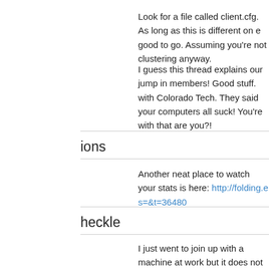Look for a file called client.cfg. As long as this is different on e good to go. Assuming you're not clustering anyway.
I guess this thread explains our jump in members! Good stuff. with Colorado Tech. They said your computers all suck! You're with that are you?!
ions
Another neat place to watch your stats is here: http://folding.e s=&t=36480
heckle
I just went to join up with a machine at work but it does not se packets. Keep getting the message "could not connect to assi this machine connecting, I only use it 2 days a week and can
thaddaeus